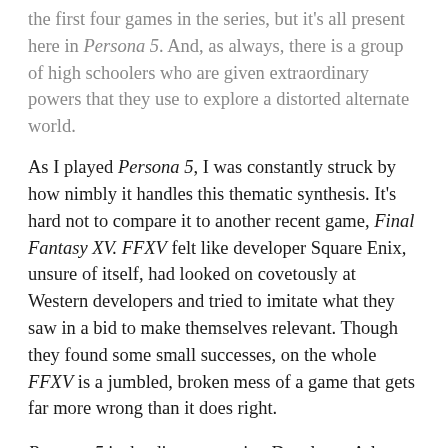the first four games in the series, but it's all present here in Persona 5. And, as always, there is a group of high schoolers who are given extraordinary powers that they use to explore a distorted alternate world.
As I played Persona 5, I was constantly struck by how nimbly it handles this thematic synthesis. It's hard not to compare it to another recent game, Final Fantasy XV. FFXV felt like developer Square Enix, unsure of itself, had looked on covetously at Western developers and tried to imitate what they saw in a bid to make themselves relevant. Though they found some small successes, on the whole FFXV is a jumbled, broken mess of a game that gets far more wrong than it does right.
Persona 5 is the direct opposite: Developer Atlus leans into all its strengths full tilt, creating not just a game with a strong central vision, but what is almost certainly the most polished